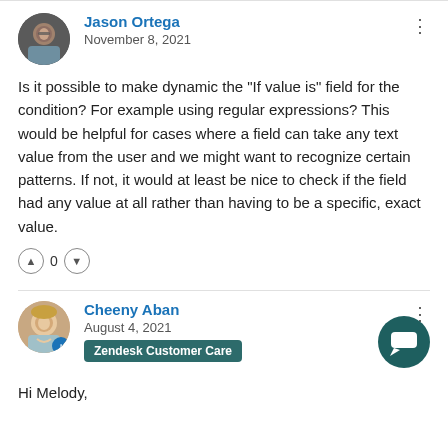Jason Ortega
November 8, 2021
Is it possible to make dynamic the "If value is" field for the condition? For example using regular expressions? This would be helpful for cases where a field can take any text value from the user and we might want to recognize certain patterns. If not, it would at least be nice to check if the field had any value at all rather than having to be a specific, exact value.
Cheeny Aban
August 4, 2021
Zendesk Customer Care
Hi Melody,